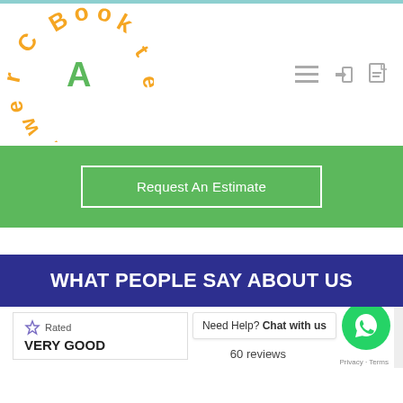[Figure (logo): BookACrew circular logo with orange and green letters arranged in a circle spelling 'Book A Crew']
[Figure (other): Navigation icons: hamburger menu, login arrow, and document icon in gray]
Request An Estimate
WHAT PEOPLE SAY ABOUT US
Need Help? Chat with us
Rated VERY GOOD
60 reviews
Privacy · Terms